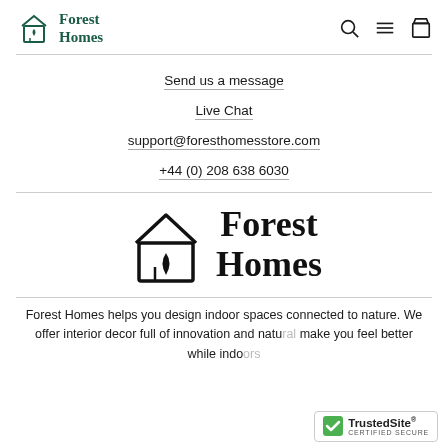Forest Homes
Send us a message
Live Chat
support@foresthomesstore.com
+44 (0) 208 638 6030
[Figure (logo): Forest Homes logo — house icon with plant, bold serif text 'Forest Homes']
Forest Homes helps you design indoor spaces connected to nature. We offer interior decor full of innovation and natu... make you feel better while indo...